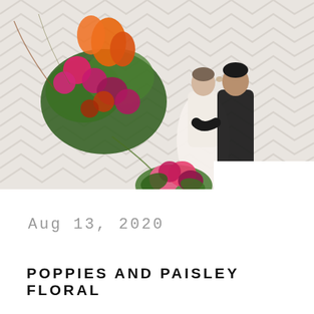[Figure (photo): A couple in wedding attire kissing/touching foreheads in front of a white herringbone patterned wall, with a large colorful floral arrangement (orange, pink, magenta, green) on the upper left and a floral bouquet at the bottom center.]
Aug 13, 2020
POPPIES AND PAISLEY FLORAL